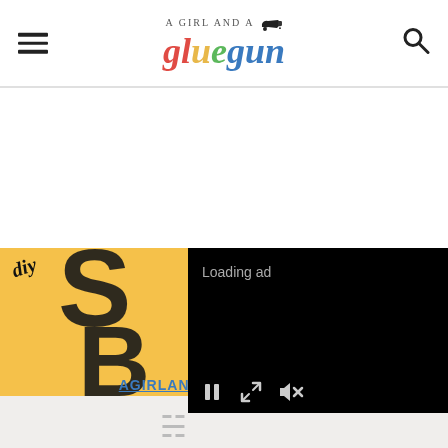A GIRL AND A gluegun [logo with glue gun icon, hamburger menu, and search icon]
[Figure (screenshot): Website screenshot showing 'A Girl and a Glue Gun' blog. Header with hamburger menu on left, logo in center, search icon on right. Below is a large content image with yellow background showing 'DIY' in italic script and large block letters 'S' and 'B', the website URL 'AGIRLANDAGLUEGUN.COM', and a black video ad overlay showing 'Loading ad' with playback controls (pause, resize, mute).]